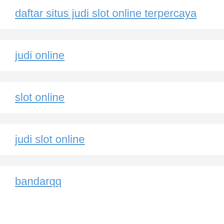daftar situs judi slot online terpercaya
judi online
slot online
judi slot online
bandarqq